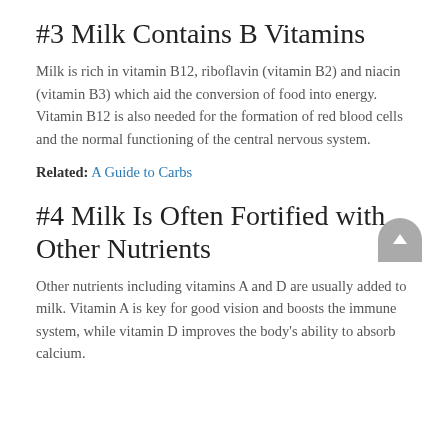#3 Milk Contains B Vitamins
Milk is rich in vitamin B12, riboflavin (vitamin B2) and niacin (vitamin B3) which aid the conversion of food into energy. Vitamin B12 is also needed for the formation of red blood cells and the normal functioning of the central nervous system.
Related: A Guide to Carbs
#4 Milk Is Often Fortified with Other Nutrients
Other nutrients including vitamins A and D are usually added to milk. Vitamin A is key for good vision and boosts the immune system, while vitamin D improves the body's ability to absorb calcium.